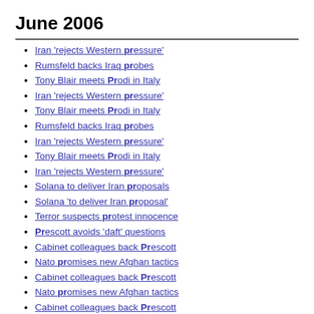June 2006
Iran 'rejects Western pressure'
Rumsfeld backs Iraq probes
Tony Blair meets Prodi in Italy
Iran 'rejects Western pressure'
Tony Blair meets Prodi in Italy
Rumsfeld backs Iraq probes
Iran 'rejects Western pressure'
Tony Blair meets Prodi in Italy
Iran 'rejects Western pressure'
Solana to deliver Iran proposals
Solana 'to deliver Iran proposal'
Terror suspects protest innocence
Prescott avoids 'daft' questions
Cabinet colleagues back Prescott
Nato promises new Afghan tactics
Cabinet colleagues back Prescott
Nato promises new Afghan tactics
Cabinet colleagues back Prescott